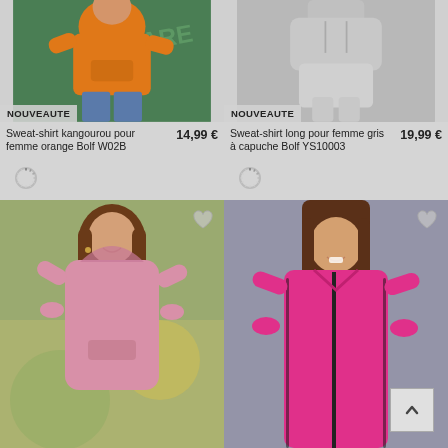[Figure (photo): Woman wearing orange sweatshirt, with NOUVEAUTE badge at bottom left]
[Figure (photo): Woman in gray clothing, cropped at bottom/lower body, with NOUVEAUTE badge]
Sweat-shirt kangourou pour femme orange Bolf W02B
14,99 €
Sweat-shirt long pour femme gris à capuche Bolf YS10003
19,99 €
[Figure (photo): Woman wearing pink hoodie dress, smiling, outdoors with blurred background. Heart icon overlay top right.]
[Figure (photo): Woman wearing hot pink zip-up jacket with black trim, smiling. Heart icon overlay top right. Back-to-top button bottom right.]